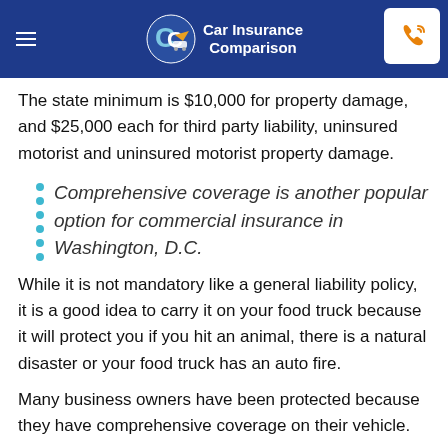Car Insurance Comparison
The state minimum is $10,000 for property damage, and $25,000 each for third party liability, uninsured motorist and uninsured motorist property damage.
Comprehensive coverage is another popular option for commercial insurance in Washington, D.C.
While it is not mandatory like a general liability policy, it is a good idea to carry it on your food truck because it will protect you if you hit an animal, there is a natural disaster or your food truck has an auto fire.
Many business owners have been protected because they have comprehensive coverage on their vehicle.